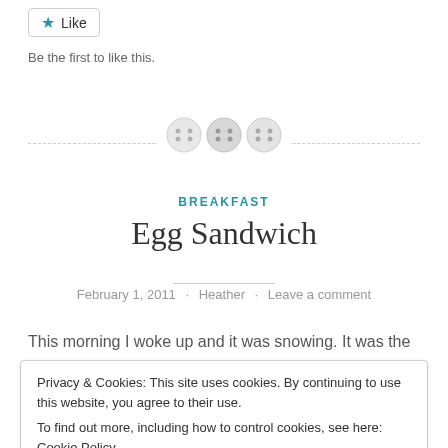[Figure (other): Like button with blue star icon and border]
Be the first to like this.
[Figure (other): Decorative divider with dashed line and three button/circle icons]
BREAKFAST
Egg Sandwich
February 1, 2011 · Heather · Leave a comment
This morning I woke up and it was snowing. It was the
Privacy & Cookies: This site uses cookies. By continuing to use this website, you agree to their use.
To find out more, including how to control cookies, see here: Cookie Policy
Close and accept
Continue reading